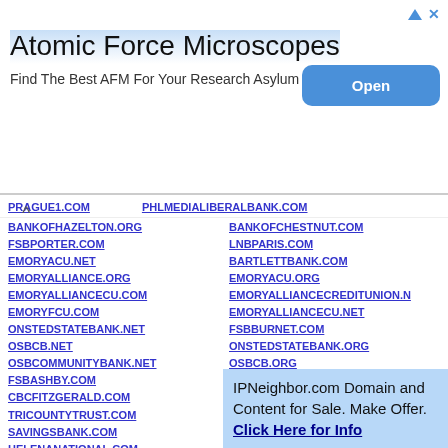[Figure (screenshot): Advertisement banner for Atomic Force Microscopes with Open button]
BANKOFCHESTNUT.COM
BANKOFHAZELTON.ORG
LNBPARIS.COM
FSBPORTER.COM
BARTLETTBANK.COM
EMORYACU.NET
EMORYACU.ORG
EMORYALLIANCE.ORG
EMORYALLIANCECREDITUNION.N
EMORYALLIANCECU.COM
EMORYALLIANCECU.NET
EMORYFCU.COM
FSBBURNET.COM
ONSTEDSTATEBANK.NET
ONSTEDSTATEBANK.ORG
OSBCB.NET
OSBCB.ORG
OSBCOMMUNITYBANK.NET
OSBCOMMUNITYBANK.ORG
FSBASHBY.COM
ONEWORLDBANK.COM
CBCFITZGERALD.COM
BANKOFPINEHILL.COM
TRICOUNTYTRUST.COM
GOTOCB.COM
SAVINGSBANK.COM
MILEHIGHBANKSNMD.COM
HELENANATIONAL.COM
HELENANATIONALBANK.COM
HNBONLINE.COM
FTNB.NET
FSBWIL.COM
YOURDCB.COM
COVENANTBANK.NET
PWCBANKS.NET
CBTBANKING.COM
CBTBANKING.ORG
WWWCBTBANKING.NET
IPNeighbor.com Domain and Content for Sale. Make Offer. Click Here for Info